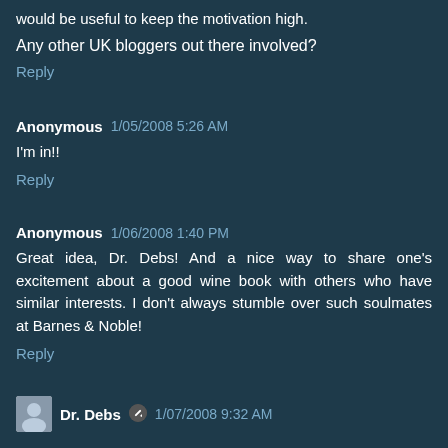would be useful to keep the motivation high.
Any other UK bloggers out there involved?
Reply
Anonymous 1/05/2008 5:26 AM
I'm in!!
Reply
Anonymous 1/06/2008 1:40 PM
Great idea, Dr. Debs! And a nice way to share one's excitement about a good wine book with others who have similar interests. I don't always stumble over such soulmates at Barnes & Noble!
Reply
Dr. Debs 1/07/2008 9:32 AM